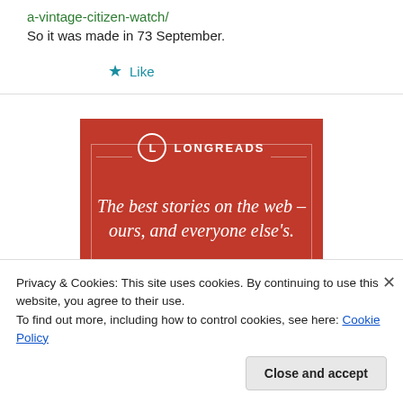a-vintage-citizen-watch/
So it was made in 73 September.
★ Like
[Figure (infographic): Longreads advertisement banner with red background. Shows the Longreads logo (circle with L), tagline 'The best stories on the web – ours, and everyone else's.' and a 'Start reading' button.]
Privacy & Cookies: This site uses cookies. By continuing to use this website, you agree to their use.
To find out more, including how to control cookies, see here: Cookie Policy
Close and accept